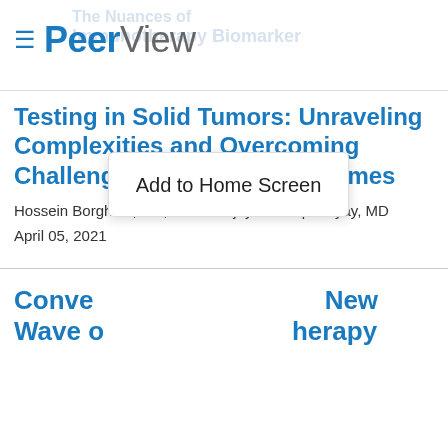≡ PeerView
The Nuances of Immunotherapy Biomarker
Testing in Solid Tumors: Unraveling Complexities and Overcoming Challenges to Improve Outcomes
Hossein Borghaei, DO, MS / Sanjay Mukhopadhyay, MD
April 05, 2021
Conve... New Wave o... herapy
Add to Home Screen